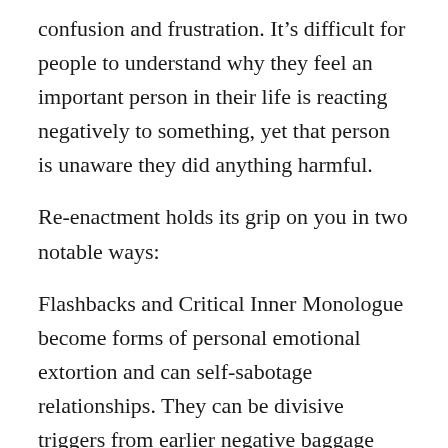confusion and frustration. It's difficult for people to understand why they feel an important person in their life is reacting negatively to something, yet that person is unaware they did anything harmful.
Re-enactment holds its grip on you in two notable ways:
Flashbacks and Critical Inner Monologue become forms of personal emotional extortion and can self-sabotage relationships. They can be divisive triggers from earlier negative baggage which gets displaced onto a current relationship and can fuel re-enactment in your current relationship.